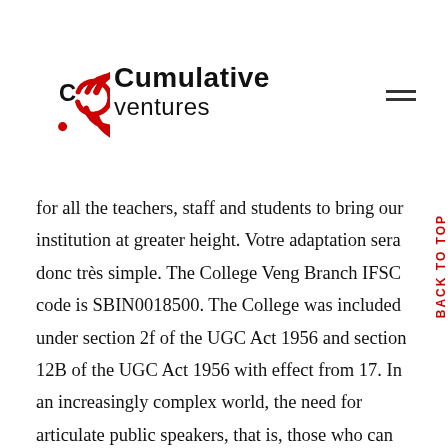[Figure (logo): Cumulative Ventures logo with red circular icon and text]
for all the teachers, staff and students to bring our institution at greater height. Votre adaptation sera donc très simple. The College Veng Branch IFSC code is SBIN0018500. The College was included under section 2f of the UGC Act 1956 and section 12B of the UGC Act 1956 with effect from 17. In an increasingly complex world, the need for articulate public speakers, that is, those who can present appropriate, relevant, and clear ideas to listeners in a direct, open and convincing manner has become even greater. Just like moons and like suns,With the certainty of tides,Just like